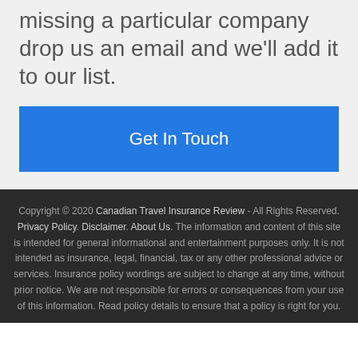missing a particular company drop us an email and we'll add it to our list.
Get In Touch
Copyright © 2020 Canadian Travel Insurance Review - All Rights Reserved. Privacy Policy. Disclaimer. About Us. The information and content of this site is intended for general informational and entertainment purposes only. It is not intended as insurance, legal, financial, tax or any other professional advice or services. Insurance policy wordings are subject to change at any time, without prior notice. We are not responsible for errors or consequences from your use of this information. Read policy details to ensure that a policy is right for you.